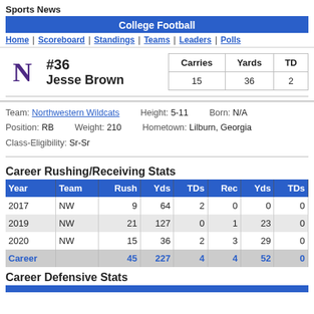Sports News
College Football
Home | Scoreboard | Standings | Teams | Leaders | Polls
#36 Jesse Brown
| Carries | Yards | TD |
| --- | --- | --- |
| 15 | 36 | 2 |
Team: Northwestern Wildcats   Height: 5-11   Born: N/A
Position: RB   Weight: 210   Hometown: Lilburn, Georgia
Class-Eligibility: Sr-Sr
Career Rushing/Receiving Stats
| Year | Team | Rush | Yds | TDs | Rec | Yds | TDs |
| --- | --- | --- | --- | --- | --- | --- | --- |
| 2017 | NW | 9 | 64 | 2 | 0 | 0 | 0 |
| 2019 | NW | 21 | 127 | 0 | 1 | 23 | 0 |
| 2020 | NW | 15 | 36 | 2 | 3 | 29 | 0 |
| Career |  | 45 | 227 | 4 | 4 | 52 | 0 |
Career Defensive Stats